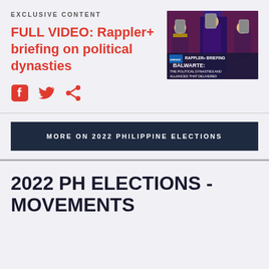EXCLUSIVE CONTENT
FULL VIDEO: Rappler+ briefing on political dynasties
[Figure (illustration): Thumbnail image for Rappler+ Briefing: BALWARTE: THE POLITICAL DYNASTIES AND ALLIANCES THAT DELIVERED. Illustrated image with cartoon figures on thrones holding phones, UNESCO branding visible.]
MORE ON 2022 PHILIPPINE ELECTIONS
2022 PH ELECTIONS - MOVEMENTS